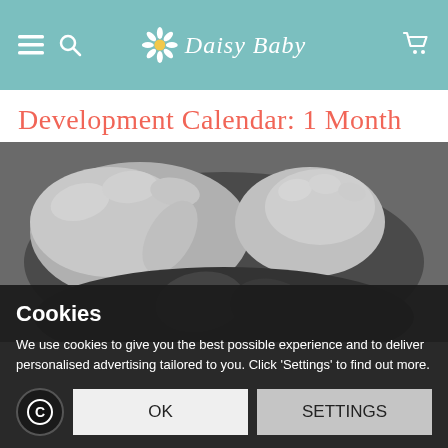DaisyBaby — navigation header with menu, search, logo, and cart icons
Development Calendar: 1 Month
[Figure (photo): Black and white close-up photo of a parent's hand holding a baby's tiny hand and feet]
Cookies
We use cookies to give you the best possible experience and to deliver personalised advertising tailored to you. Click 'Settings' to find out more.
OK
SETTINGS